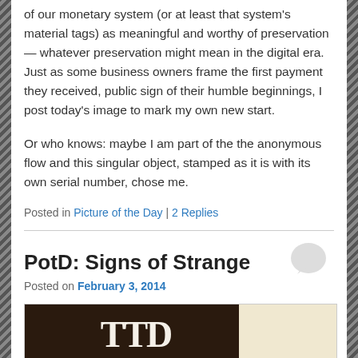of our monetary system (or at least that system's material tags) as meaningful and worthy of preservation — whatever preservation might mean in the digital era. Just as some business owners frame the first payment they received, public sign of their humble beginnings, I post today's image to mark my own new start.
Or who knows: maybe I am part of the the anonymous flow and this singular object, stamped as it is with its own serial number, chose me.
Posted in Picture of the Day | 2 Replies
PotD: Signs of Strange
Posted on February 3, 2014
[Figure (photo): Partial view of a dark brown sign with white serif letters 'TTD' on a cream/tan background]